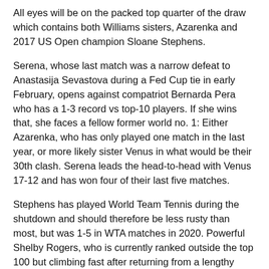All eyes will be on the packed top quarter of the draw which contains both Williams sisters, Azarenka and 2017 US Open champion Sloane Stephens.
Serena, whose last match was a narrow defeat to Anastasija Sevastova during a Fed Cup tie in early February, opens against compatriot Bernarda Pera who has a 1-3 record vs top-10 players. If she wins that, she faces a fellow former world no. 1: Either Azarenka, who has only played one match in the last year, or more likely sister Venus in what would be their 30th clash. Serena leads the head-to-head with Venus 17-12 and has won four of their last five matches.
Stephens has played World Team Tennis during the shutdown and should therefore be less rusty than most, but was 1-5 in WTA matches in 2020. Powerful Shelby Rogers, who is currently ranked outside the top 100 but climbing fast after returning from a lengthy injury break in April 2019, could be the biggest threat to the seventh seed.
Another first-round clash to watch is the meeting of fourth seed Amanda Anisimova and Catherine Bellis. Anisimova, 18, won